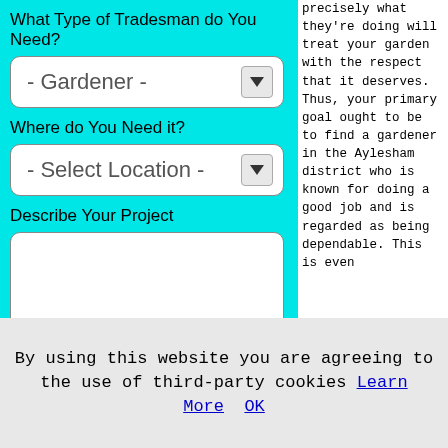What Type of Tradesman do You Need?
- Gardener -
Where do You Need it?
- Select Location -
Describe Your Project
precisely what they're doing will treat your garden with the respect that it deserves. Thus, your primary goal ought to be to find a gardener in the Aylesham district who is known for doing a good job and is regarded as being dependable. This is even
By using this website you are agreeing to the use of third-party cookies Learn More OK